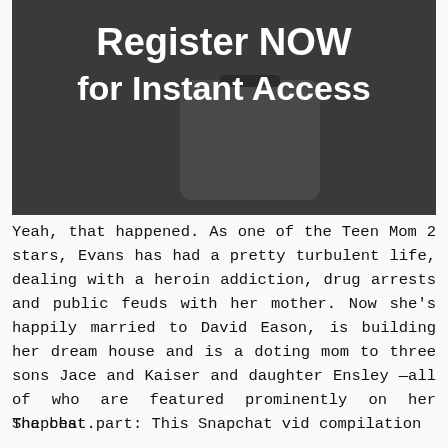[Figure (screenshot): Dark smartphone/device image with white text reading 'Register NOW for Instant Access']
Yeah, that happened. As one of the Teen Mom 2 stars, Evans has had a pretty turbulent life, dealing with a heroin addiction, drug arrests and public feuds with her mother. Now she's happily married to David Eason, is building her dream house and is a doting mom to three sons Jace and Kaiser and daughter Ensley —all of who are featured prominently on her Snapchat.
The best part: This Snapchat vid compilation